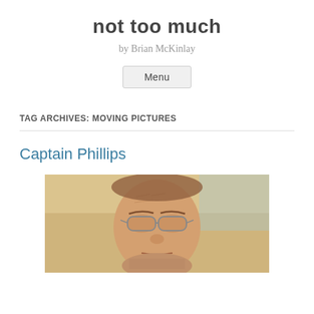not too much
by Brian McKinlay
Menu
TAG ARCHIVES: MOVING PICTURES
Captain Phillips
[Figure (photo): Close-up photo of a man with glasses, furrowed brow, appearing distressed — likely a movie still from Captain Phillips]